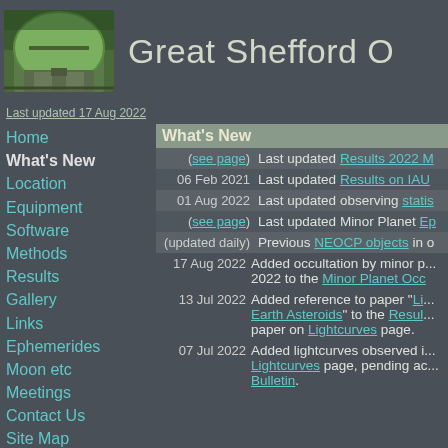[Figure (photo): Observatory dome photo - green dome building in outdoor setting]
Great Shefford O
Last updated 17 Aug 2022
Home
What's New
Location
Equipment
Software
Methods
Results
Gallery
Links
Ephemerides
Moon etc
Meetings
Contact Us
Site Map
What's New
| Date | Update |
| --- | --- |
| (see page) | Last updated Results 2022 M... |
| 06 Feb 2021 | Last updated Results on IAU... |
| 01 Aug 2022 | Last updated observing statis... |
| (see page) | Last updated Minor Planet Ep... |
| (updated daily) | Previous NEOCP objects in o... |
17 Aug 2022 Added occultation by minor p... 2022 to the Minor Planet Occ...
13 Jul 2022 Added reference to paper "Li... Earth Asteroids" to the Resul... paper on Lightcurves page.
07 Jul 2022 Added lightcurves observed i... Lightcurves page, pending ac... Bulletin.